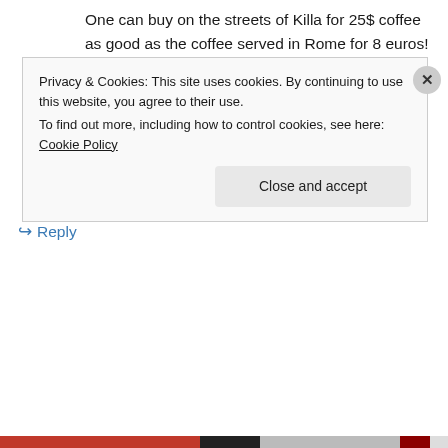One can buy on the streets of Killa for 25$ coffee as good as the coffee served in Rome for 8 euros!
VAMOS COLOMBIA!!!!!!!! sabato/saturday July 04 17pm vs Brasil!!!!
http://www.cbc.ca ( live streaming )
★ Like
↪ Reply
Privacy & Cookies: This site uses cookies. By continuing to use this website, you agree to their use.
To find out more, including how to control cookies, see here: Cookie Policy
Close and accept